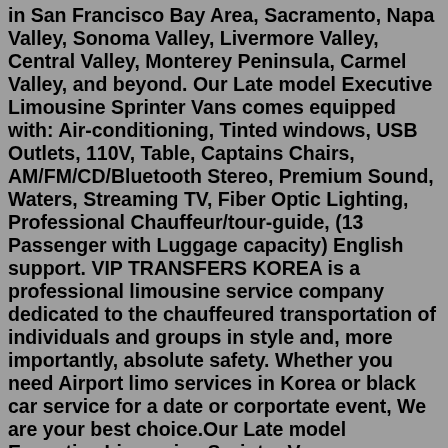in San Francisco Bay Area, Sacramento, Napa Valley, Sonoma Valley, Livermore Valley, Central Valley, Monterey Peninsula, Carmel Valley, and beyond. Our Late model Executive Limousine Sprinter Vans comes equipped with: Air-conditioning, Tinted windows, USB Outlets, 110V, Table, Captains Chairs, AM/FM/CD/Bluetooth Stereo, Premium Sound, Waters, Streaming TV, Fiber Optic Lighting, Professional Chauffeur/tour-guide, (13 Passenger with Luggage capacity) English support. VIP TRANSFERS KOREA is a professional limousine service company dedicated to the chauffeured transportation of individuals and groups in style and, more importantly, absolute safety. Whether you need Airport limo services in Korea or black car service for a date or corportate event, We are your best choice.Our Late model Executive Limousine Sprinter Vans comes equipped with: Air-conditioning, Tinted windows, USB Outlets, 110V, Table, Captains Chairs, AM/FM/CD/Bluetooth Stereo, Premium Sound, Waters, Streaming TV, Fiber Optic Lighting,